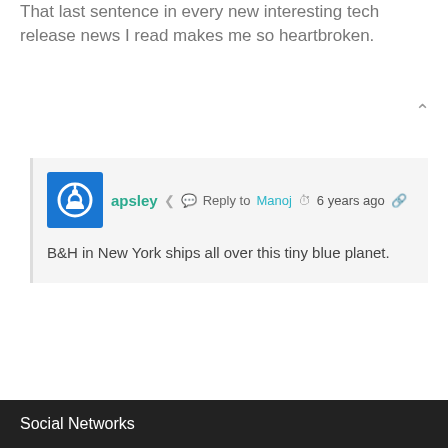That last sentence in every new interesting tech release news I read makes me so heartbroken.
apsley  Reply to  Manoj  6 years ago
B&H in New York ships all over this tiny blue planet.
Social Networks